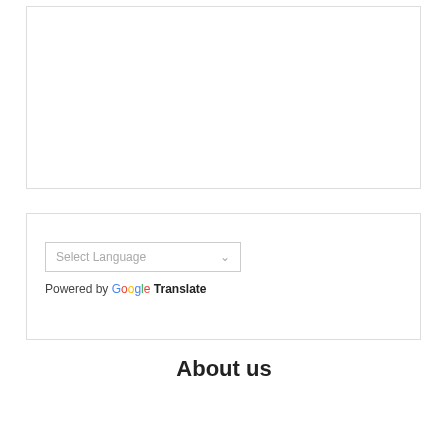[Figure (other): Empty white box with light grey border at top of page]
[Figure (other): Google Translate widget box containing a 'Select Language' dropdown and 'Powered by Google Translate' text]
About us